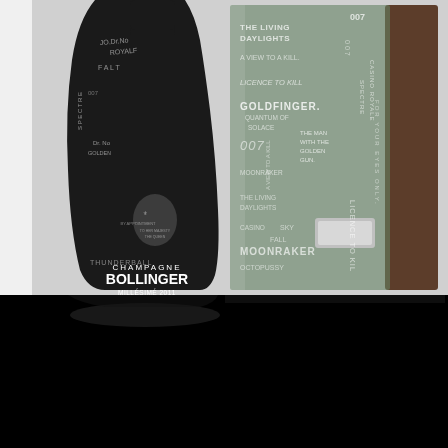[Figure (photo): Bollinger Champagne Millésimé 2011 007 James Bond limited edition black bottle engraved with Bond film titles, displayed next to a wooden and glass presentation box also engraved with Bond film titles including Goldfinger, Moonraker, Skyfall, Casino Royale, Spectre, The Living Daylights, A View to a Kill, Dr. No, Quantum of Solace, Licence to Kill, The Man with the Golden Gun, and others. The bottle is black with white engraved text and features the Bollinger royal crest.]
[Figure (photo): Bottom portion of the same product image, showing the lower base of the Bollinger bottle and the bottom of the presentation box against a dark/black background.]